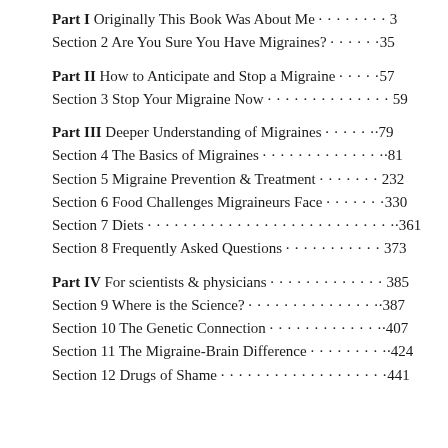Part I Originally This Book Was About Me · · · · · · · · 3
Section 2 Are You Sure You Have Migraines? · · · · · ·35
Part II How to Anticipate and Stop a Migraine · · · · ·57
Section 3 Stop Your Migraine Now · · · · · · · · · · · · · · · 59
Part III Deeper Understanding of Migraines · · · · · · ·79
Section 4 The Basics of Migraines · · · · · · · · · · · · · · · ·81
Section 5 Migraine Prevention & Treatment · · · · · · · 232
Section 6 Food Challenges Migraineurs Face · · · · · · ·330
Section 7 Diets · · · · · · · · · · · · · · · · · · · · · · · · · · · · · ·361
Section 8 Frequently Asked Questions · · · · · · · · · · · 373
Part IV For scientists & physicians · · · · · · · · · · · · · 385
Section 9 Where is the Science? · · · · · · · · · · · · · · · ·387
Section 10 The Genetic Connection · · · · · · · · · · · · · ·407
Section 11 The Migraine-Brain Difference · · · · · · · · ·424
Section 12 Drugs of Shame · · · · · · · · · · · · · · · · · · · ·441